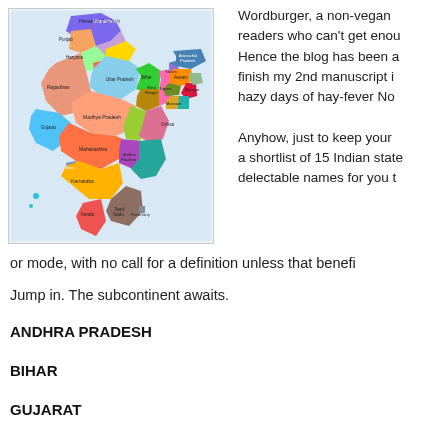[Figure (map): Colorful political map of India showing states labeled with their names, including Himachal Pradesh, Punjab, Uttarakhand, Haryana, Rajasthan, Gujarat, Madhya Pradesh, Maharashtra, Goa, Karnataka, Kerala, Tamil Nadu, Andhra Pradesh, Orissa, Jharkhand, West Bengal, Sikkim, Arunachal Pradesh, Assam, Meghalaya, Manipur, Mizoram, Tripura, Bihar, Uttar Pradesh, Jammu & Kashmir, and others.]
Wordburger, a non-vegan readers who can't get enou Hence the blog has been a finish my 2nd manuscript i hazy days of hay-fever No Anyhow, just to keep your a shortlist of 15 Indian state delectable names for you t or mode, with no call for a definition unless that benefi
Jump in. The subcontinent awaits.
ANDHRA PRADESH
BIHAR
GUJARAT